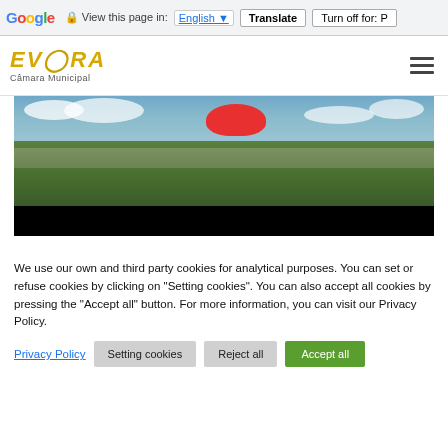Google  View this page in: English [▼]  Translate  Turn off for: P
[Figure (logo): ÉVORA Câmara Municipal logo with stylized yellow/gold text and hamburger menu icon]
[Figure (photo): Landscape panoramic photo of Évora city viewed from a hill, with cloudy sky, green trees, and city in background. A red shape (redacted/blurred element) visible in upper center. Bottom portion is black.]
We use our own and third party cookies for analytical purposes. You can set or refuse cookies by clicking on "Setting cookies". You can also accept all cookies by pressing the "Accept all" button. For more information, you can visit our Privacy Policy.
Privacy Policy   Setting cookies   Reject all   Accept all